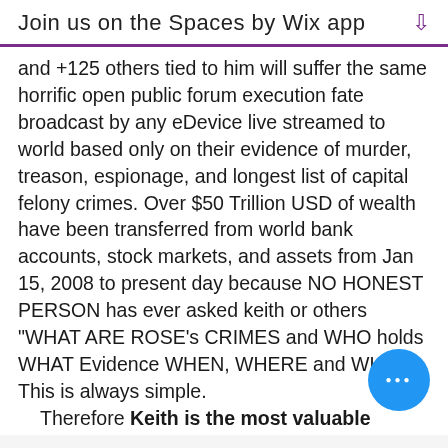Join us on the Spaces by Wix app ↓
and +125 others tied to him will suffer the same horrific open public forum execution fate broadcast by any eDevice live streamed to world based only on their evidence of murder, treason, espionage, and longest list of capital felony crimes. Over $50 Trillion USD of wealth have been transferred from world bank accounts, stock markets, and assets from Jan 15, 2008 to present day because NO HONEST PERSON has ever asked keith or others "WHAT ARE ROSE's CRIMES and WHO holds WHAT Evidence WHEN, WHERE and WHY." This is always simple.
  Therefore Keith is the most valuable commodity in GODs and your eyes for his completed authorship, delivery, and broadcasts of HOW to unify earthlings using the phrase "Can you prove you are honest, what is your International IID number and your integrity rating?"  +7.8 Billion my people now enrolled systematically into FOIA... that was gifted by our redeemer keith brent